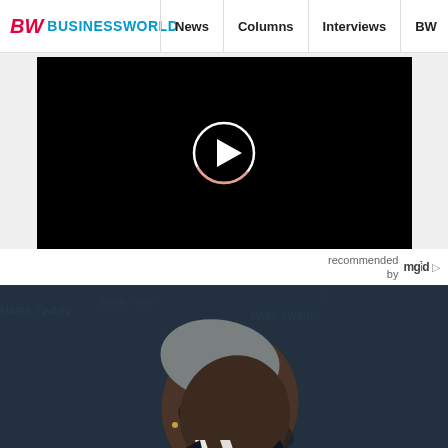BW BUSINESSWORLD | News | Columns | Interviews | BW
[Figure (screenshot): Video thumbnail with black background and circular play button]
recommended by mgid
[Figure (photo): Elderly Black man in dark suit and sunglasses looking downward at an event backdrop]
BRAINBERRIES